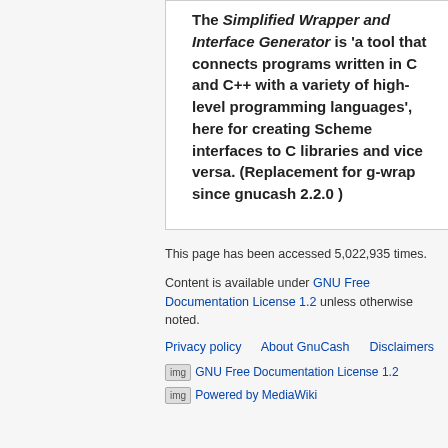The Simplified Wrapper and Interface Generator is 'a tool that connects programs written in C and C++ with a variety of high-level programming languages', here for creating Scheme interfaces to C libraries and vice versa. (Replacement for g-wrap since gnucash 2.2.0 )
This page has been accessed 5,022,935 times.
Content is available under GNU Free Documentation License 1.2 unless otherwise noted.
Privacy policy   About GnuCash   Disclaimers
[Figure (logo): GNU Free Documentation License 1.2 badge/logo]
[Figure (logo): Powered by MediaWiki badge/logo]